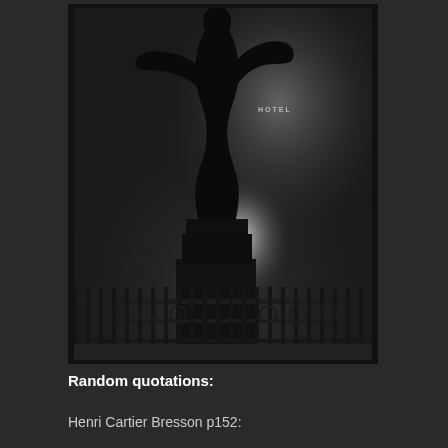[Figure (photo): Black and white photograph of a dark statue silhouette on a pedestal with ornate iron fence in the foreground, glowing foggy light in the background, and a faint 'HOTEL' sign visible in the mist.]
Random quotations:
Henri Cartier Bresson p152: